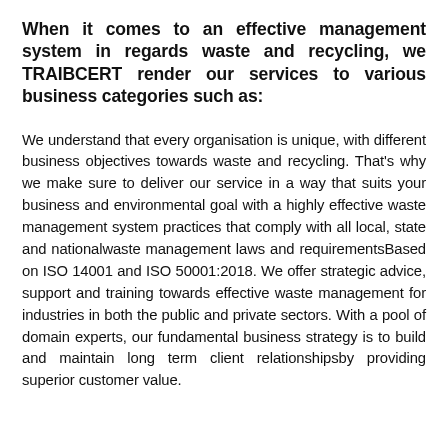When it comes to an effective management system in regards waste and recycling, we TRAIBCERT render our services to various business categories such as:
We understand that every organisation is unique, with different business objectives towards waste and recycling. That's why we make sure to deliver our service in a way that suits your business and environmental goal with a highly effective waste management system practices that comply with all local, state and nationalwaste management laws and requirementsBased on ISO 14001 and ISO 50001:2018. We offer strategic advice, support and training towards effective waste management for industries in both the public and private sectors. With a pool of domain experts, our fundamental business strategy is to build and maintain long term client relationshipsby providing superior customer value.